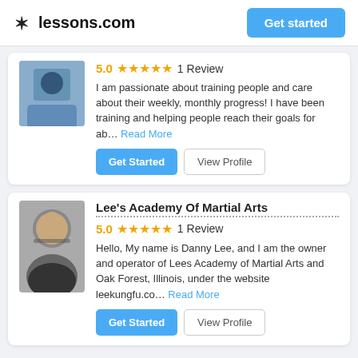lessons.com   Get started
5.0  ★★★★★  1 Review
I am passionate about training people and care about their weekly, monthly progress! I have been training and helping people reach their goals for ab... Read More
Get Started   View Profile
Lee's Academy Of Martial Arts
5.0  ★★★★★  1 Review
Hello, My name is Danny Lee, and I am the owner and operator of Lees Academy of Martial Arts and Oak Forest, Illinois, under the website leekungfu.co... Read More
Get Started   View Profile